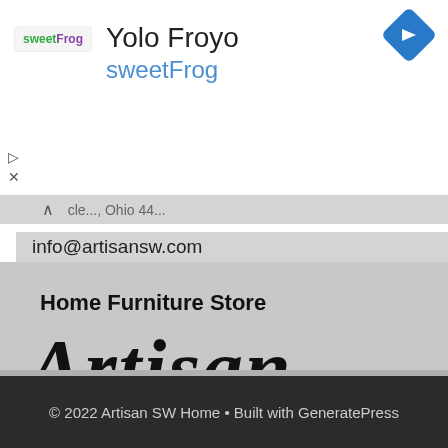[Figure (screenshot): Google Maps style ad banner showing sweetFrog logo, 'Yolo Froyo' business name, 'sweetFrog' brand name in blue, and blue diamond navigation icon in top right]
...cle..., Ohio 44...
info@artisansw.com
Home Furniture Store
Artisan SW
© 2022 Artisan SW Home • Built with GeneratePress